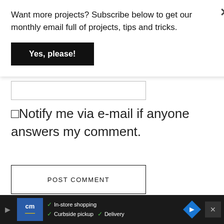Want more projects? Subscribe below to get our monthly email full of projects, tips and tricks.
Yes, please!
☐Notify me via e-mail if anyone answers my comment.
POST COMMENT
[Figure (logo): CommentLuv logo with two red flame icons and stylized text COMMENTLUV]
[Figure (screenshot): Bottom advertisement banner: dark background with cm logo in blue, checkmarks for In-store shopping, Curbside pickup, Delivery, blue diamond navigation arrow, and close button]